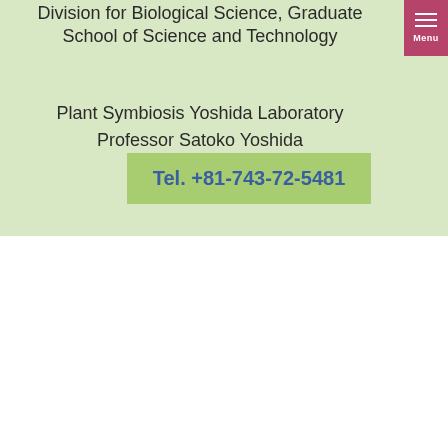Division for Biological Science, Graduate School of Science and Technology
Plant Symbiosis Yoshida Laboratory
Professor Satoko Yoshida
Tel. +81-743-72-5481